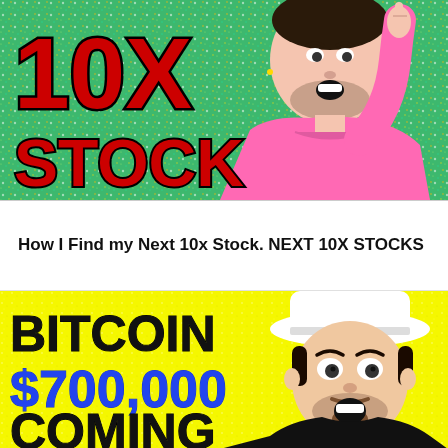[Figure (photo): YouTube thumbnail showing a man in a pink hoodie pointing one finger up against a sparkly green glitter background, with bold red text reading '10X STOCK']
How I Find my Next 10x Stock. NEXT 10X STOCKS
[Figure (photo): YouTube thumbnail with bright yellow background showing a man with surprised expression wearing a white hat, with bold black text 'BITCOIN' and bold blue text '$700,000' and black text 'COMING']